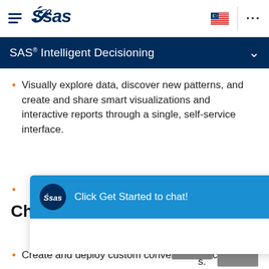[Figure (screenshot): SAS website navigation bar with hamburger menu, SAS logo, Malaysian flag icon, and three-dot menu]
SAS® Intelligent Decisioning
Visually explore data, discover new patterns, and create and share smart visualizations and interactive reports through a single, self-service interface.
(partially hidden) ...anced ...d hidden
[Figure (screenshot): SAS chatbot popup with blue bar saying 'Click Get Started to chat!' and a Get Started button]
(partially hidden) ...ch as web, ...s.
Chatbot creation
Create and deploy custom conversational chatbots